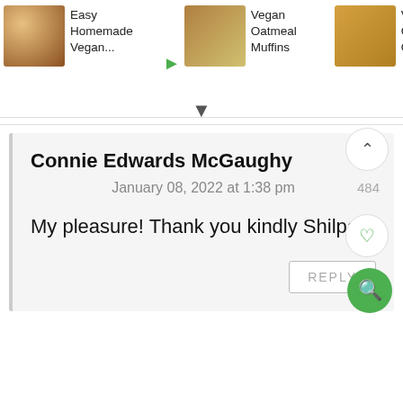[Figure (screenshot): Top navigation bar showing recipe thumbnails: Easy Homemade Vegan..., Vegan Oatmeal Muffins, Vegan Coconut Orange C...]
Connie Edwards McGaughy
January 08, 2022 at 1:38 pm
My pleasure! Thank you kindly Shilpa!
REPLY
484